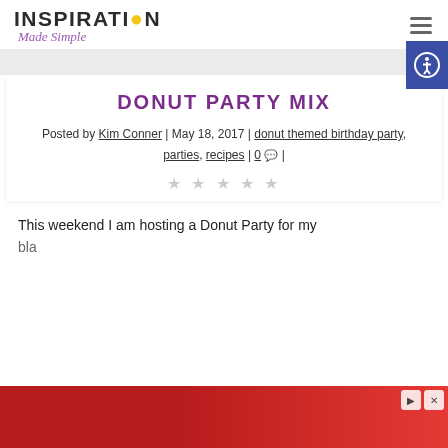Inspiration Made Simple — navigation header with hamburger menu
DONUT PARTY MIX
Posted by Kim Conner | May 18, 2017 | donut themed birthday party, parties, recipes | 0 |
★★★★★ (star rating, empty)
This weekend I am hosting a Donut Party for my...
[Figure (other): Red advertisement banner at the bottom with forward and close buttons]